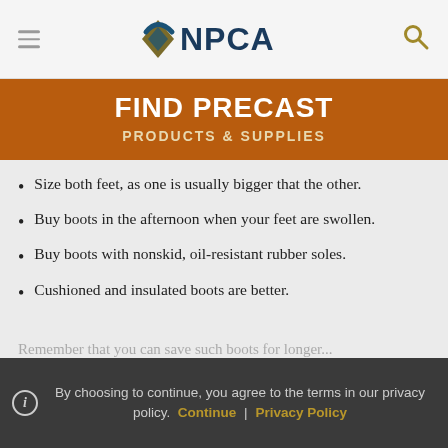NPCA logo header with hamburger menu and search icon
FIND PRECAST PRODUCTS & SUPPLIES
Size both feet, as one is usually bigger that the other.
Buy boots in the afternoon when your feet are swollen.
Buy boots with nonskid, oil-resistant rubber soles.
Cushioned and insulated boots are better.
Remember that you can save such boots for longer...
By choosing to continue, you agree to the terms in our privacy policy. Continue | Privacy Policy